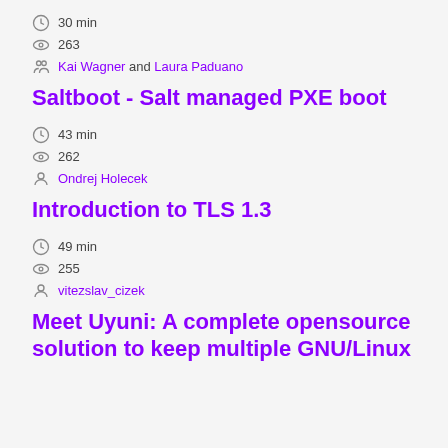30 min
263
Kai Wagner and Laura Paduano
Saltboot - Salt managed PXE boot
43 min
262
Ondrej Holecek
Introduction to TLS 1.3
49 min
255
vitezslav_cizek
Meet Uyuni: A complete opensource solution to keep multiple GNU/Linux